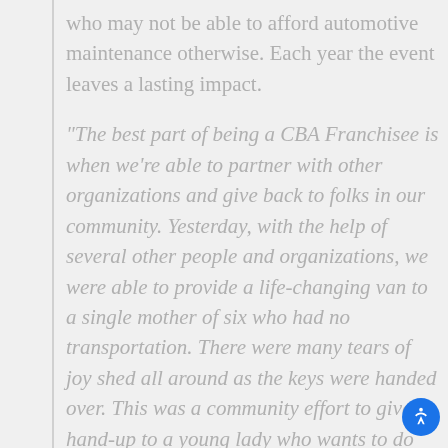who may not be able to afford automotive maintenance otherwise. Each year the event leaves a lasting impact.
“The best part of being a CBA Franchisee is when we’re able to partner with other organizations and give back to folks in our community. Yesterday, with the help of several other people and organizations, we were able to provide a life-changing van to a single mother of six who had no transportation. There were many tears of joy shed all around as the keys were handed over. This was a community effort to give a hand-up to a young lady who wants to do the best for her kids. We love this community! God had a hand in this one for sure.”